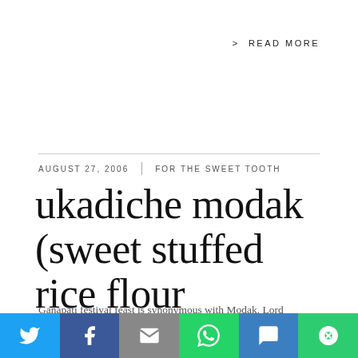> READ MORE
AUGUST 27, 2006  |  FOR THE SWEET TOOTH
ukadiche modak (sweet stuffed rice flour dumplings)
Ganapati festival feast is synonymous with Modak. Lord Ganesha's